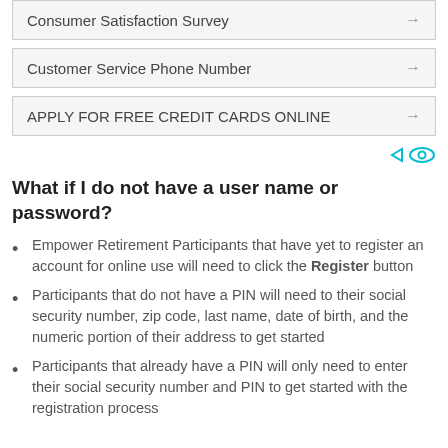Consumer Satisfaction Survey →
Customer Service Phone Number →
APPLY FOR FREE CREDIT CARDS ONLINE →
What if I do not have a user name or password?
Empower Retirement Participants that have yet to register an account for online use will need to click the Register button
Participants that do not have a PIN will need to their social security number, zip code, last name, date of birth, and the numeric portion of their address to get started
Participants that already have a PIN will only need to enter their social security number and PIN to get started with the registration process